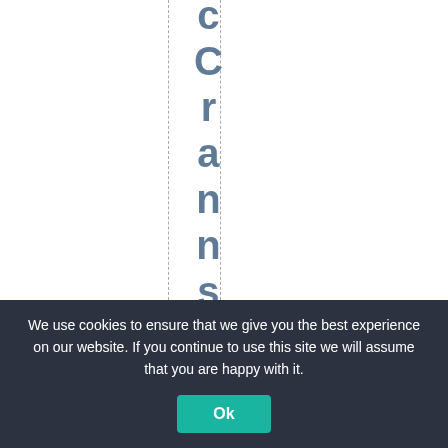[Figure (other): White area with two dashed vertical guide lines and vertically stacked letters spelling 'cCrannsays' in bold slate-blue color, one letter per line]
We use cookies to ensure that we give you the best experience on our website. If you continue to use this site we will assume that you are happy with it. Ok ×